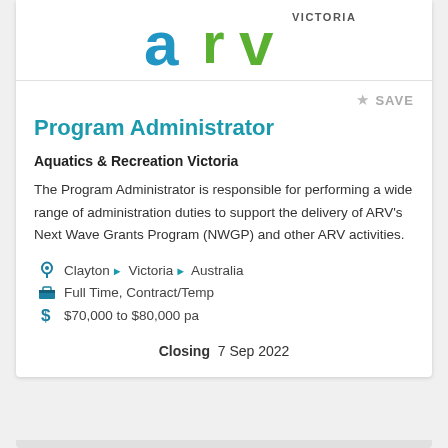[Figure (logo): ARV (Aquatics & Recreation Victoria) logo with blue 'a', green 'r', green 'v' letters and 'VICTORIA' text]
★ SAVE
Program Administrator
Aquatics & Recreation Victoria
The Program Administrator is responsible for performing a wide range of administration duties to support the delivery of ARV's Next Wave Grants Program (NWGP) and other ARV activities.
Clayton ▶ Victoria ▶ Australia
Full Time, Contract/Temp
$70,000 to $80,000 pa
Closing  7 Sep 2022